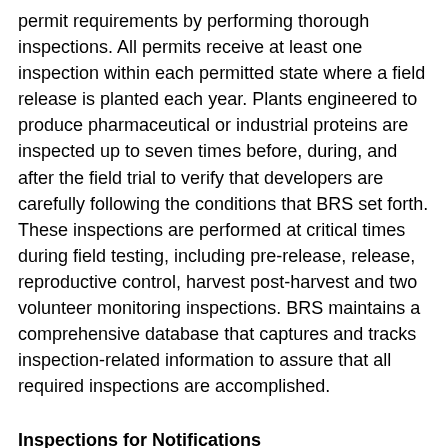permit requirements by performing thorough inspections. All permits receive at least one inspection within each permitted state where a field release is planted each year. Plants engineered to produce pharmaceutical or industrial proteins are inspected up to seven times before, during, and after the field trial to verify that developers are carefully following the conditions that BRS set forth. These inspections are performed at critical times during field testing, including pre-release, release, reproductive control, harvest post-harvest and two volunteer monitoring inspections. BRS maintains a comprehensive database that captures and tracks inspection-related information to assure that all required inspections are accomplished.
Inspections for Notifications
Notification inspections are selected on a statistically valid random sampling basis.  As planting reports arrive, spreadsheets are populated with planting information and random selection of notifications for inspection is performed using a computer model. The BRS Inspection Manual contains instructions and worksheets that inspectors use to record their observations during